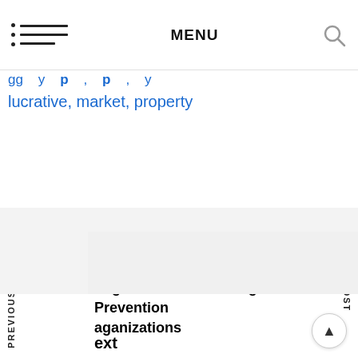MENU
lucrative, market, property
PREVIOUS POST
NEXT POST
evious
ungster Abuse And Neglect Prevention
aganizations
ext
Resource Heart